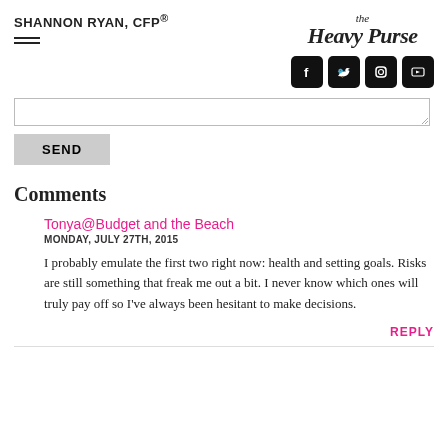SHANNON RYAN, CFP®
[Figure (logo): The Heavy Purse logo in italic handwritten style text]
[Figure (infographic): Social media icons: Facebook, Twitter, Instagram, YouTube]
Comments
Tonya@Budget and the Beach
MONDAY, JULY 27TH, 2015
I probably emulate the first two right now: health and setting goals. Risks are still something that freak me out a bit. I never know which ones will truly pay off so I've always been hesitant to make decisions.
REPLY